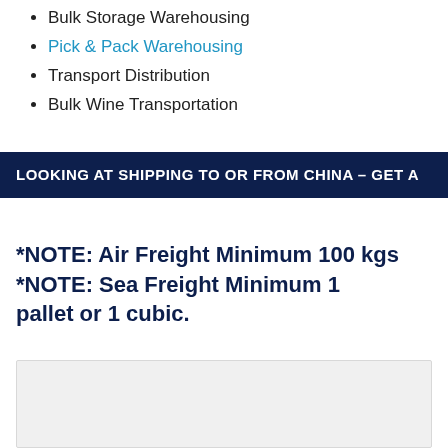Bulk Storage Warehousing
Pick & Pack Warehousing
Transport Distribution
Bulk Wine Transportation
LOOKING AT SHIPPING TO OR FROM CHINA – GET A
*NOTE: Air Freight Minimum 100 kgs *NOTE: Sea Freight Minimum 1 pallet or 1 cubic.